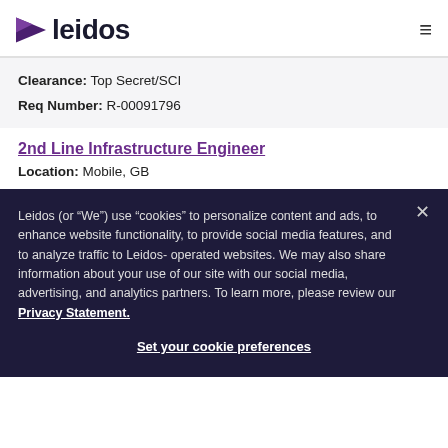[Figure (logo): Leidos company logo with purple arrow/play icon and 'leidos' wordmark in dark navy]
Clearance: Top Secret/SCI
Req Number: R-00091796
2nd Line Infrastructure Engineer
Location: Mobile, GB
Leidos (or “We”) use “cookies” to personalize content and ads, to enhance website functionality, to provide social media features, and to analyze traffic to Leidos-operated websites. We may also share information about your use of our site with our social media, advertising, and analytics partners. To learn more, please review our Privacy Statement.
Set your cookie preferences